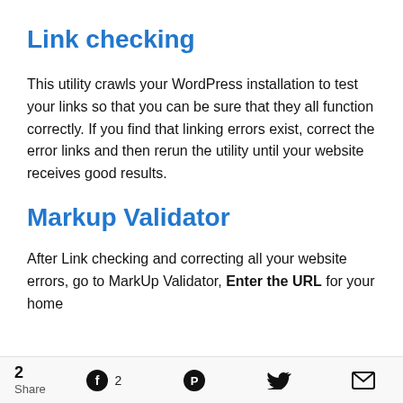Link checking
This utility crawls your WordPress installation to test your links so that you can be sure that they all function correctly. If you find that linking errors exist, correct the error links and then rerun the utility until your website receives good results.
Markup Validator
After Link checking and correcting all your website errors, go to MarkUp Validator, Enter the URL for your home
2  Share  [Facebook] 2  [Pinterest]  [Twitter]  [Email]